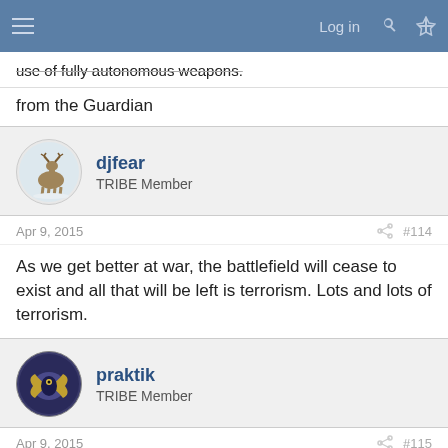Log in
use of fully autonomous weapons.
from the Guardian
djfear
TRIBE Member
Apr 9, 2015
#114
As we get better at war, the battlefield will cease to exist and all that will be left is terrorism. Lots and lots of terrorism.
praktik
TRIBE Member
Apr 9, 2015
#115
...or a Utopia where no one dies and we just battle our robot behemoths in arena to settle wars.